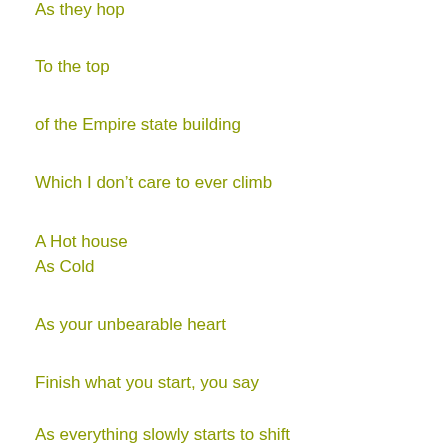As they hop
To the top
of the Empire state building
Which I don't care to ever climb
A Hot house
As Cold
As your unbearable heart
Finish what you start, you say
As everything slowly starts to shift